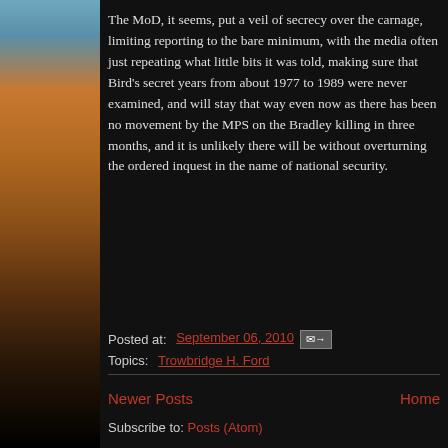The MoD, it seems, put a veil of secrecy over the carnage, limiting reporting to the bare minimum, with the media often just repeating what little bits it was told, making sure that Bird's secret years from about 1977 to 1989 were never examined, and will stay that way even now as there has been no movement by the MPS on the Bradley killing in three months, and it is unlikely there will be without overturning the ordered inquest in the name of national security.
Posted at: September 06, 2010
Topics: Trowbridge H. Ford
Newer Posts
Home
Subscribe to: Posts (Atom)